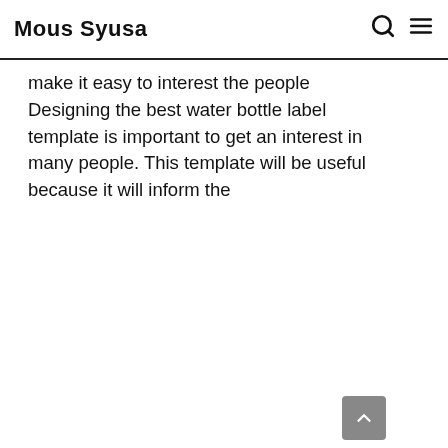Mous Syusa
make it easy to interest the people Designing the best water bottle label template is important to get an interest in many people. This template will be useful because it will inform the
[Figure (illustration): Dark maroon/purple background image showing 'Gravity Productions PRESENTS CONSTEL...' text — a movie or event poster thumbnail.]